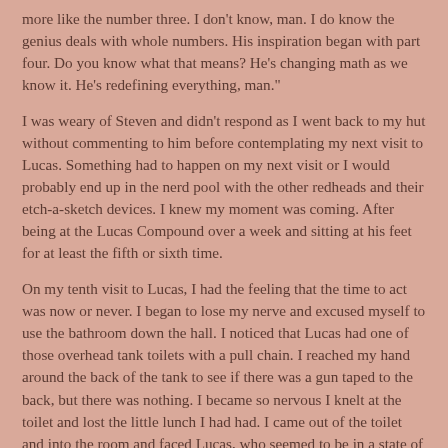more like the number three. I don't know, man. I do know the genius deals with whole numbers. His inspiration began with part four. Do you know what that means? He's changing math as we know it. He's redefining everything, man."
I was weary of Steven and didn't respond as I went back to my hut without commenting to him before contemplating my next visit to Lucas. Something had to happen on my next visit or I would probably end up in the nerd pool with the other redheads and their etch-a-sketch devices. I knew my moment was coming. After being at the Lucas Compound over a week and sitting at his feet for at least the fifth or sixth time.
On my tenth visit to Lucas, I had the feeling that the time to act was now or never. I began to lose my nerve and excused myself to use the bathroom down the hall. I noticed that Lucas had one of those overhead tank toilets with a pull chain. I reached my hand around the back of the tank to see if there was a gun taped to the back, but there was nothing. I became so nervous I knelt at the toilet and lost the little lunch I had had. I came out of the toilet and into the room and faced Lucas, who seemed to be in a state of meditation. He wasn't paying any attention to me. Sweat was pouring down my face as I grabbed the light saber on the table to the left of me. I